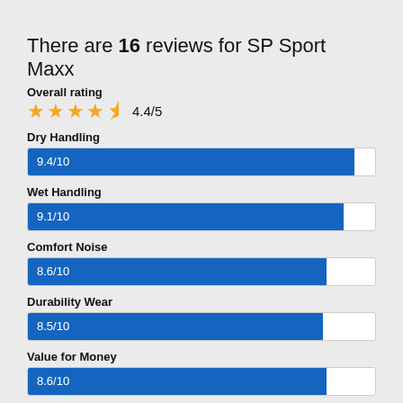There are 16 reviews for SP Sport Maxx
Overall rating
4.4/5
[Figure (bar-chart): Dry Handling]
[Figure (bar-chart): Wet Handling]
[Figure (bar-chart): Comfort Noise]
[Figure (bar-chart): Durability Wear]
[Figure (bar-chart): Value for Money]